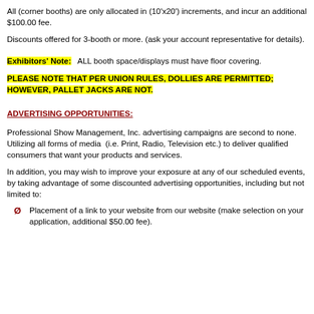All (corner booths) are only allocated in (10'x20') increments, and incur an additional $100.00 fee.
Discounts offered for 3-booth or more. (ask your account representative for details).
Exhibitors' Note:   ALL booth space/displays must have floor covering.
PLEASE NOTE THAT PER UNION RULES, DOLLIES ARE PERMITTED; HOWEVER, PALLET JACKS ARE NOT.
ADVERTISING OPPORTUNITIES:
Professional Show Management, Inc. advertising campaigns are second to none. Utilizing all forms of media  (i.e. Print, Radio, Television etc.) to deliver qualified consumers that want your products and services.
In addition, you may wish to improve your exposure at any of our scheduled events, by taking advantage of some discounted advertising opportunities, including but not limited to:
Placement of a link to your website from our website (make selection on your application, additional $50.00 fee).